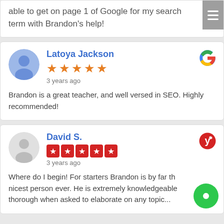able to get on page 1 of Google for my search term with Brandon's help!
Latoya Jackson
★★★★★
3 years ago
Brandon is a great teacher, and well versed in SEO. Highly recommended!
David S.
★★★★★ (Yelp)
3 years ago
Where do I begin! For starters Brandon is by far the nicest person ever. He is extremely knowledgeable thorough when asked to elaborate on any topic...